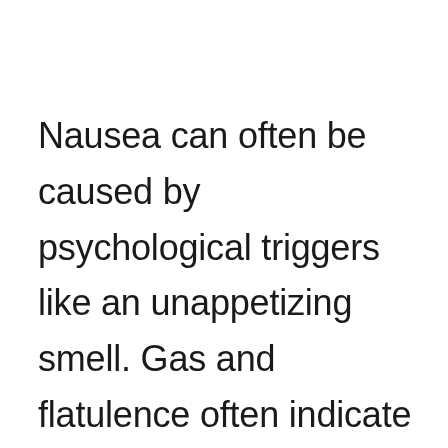Nausea can often be caused by psychological triggers like an unappetizing smell. Gas and flatulence often indicate that the stomach is upset by a food pathogen, and nausea often precedes vomiting and other consequences of gastric distress like diarrhea.